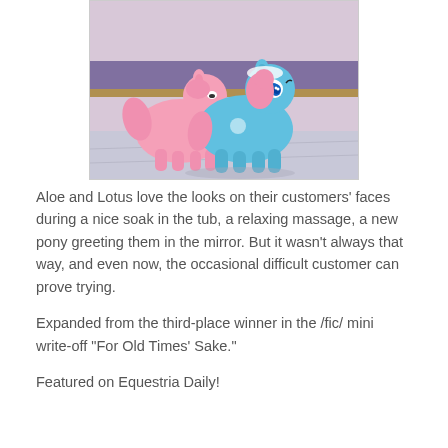[Figure (illustration): Two cartoon ponies from My Little Pony — a blue pony and a pink pony — standing together in what appears to be a spa setting with a counter/shelf behind them.]
Aloe and Lotus love the looks on their customers' faces during a nice soak in the tub, a relaxing massage, a new pony greeting them in the mirror. But it wasn't always that way, and even now, the occasional difficult customer can prove trying.
Expanded from the third-place winner in the /fic/ mini write-off "For Old Times' Sake."
Featured on Equestria Daily!